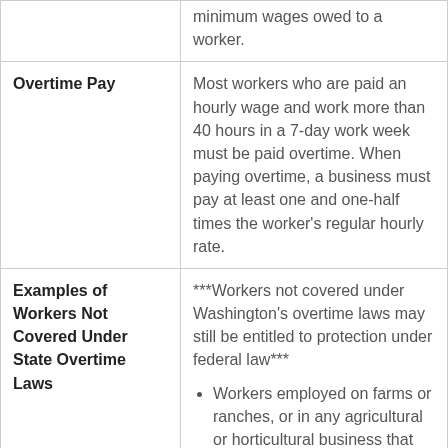|  | minimum wages owed to a worker. |
| Overtime Pay | Most workers who are paid an hourly wage and work more than 40 hours in a 7-day work week must be paid overtime. When paying overtime, a business must pay at least one and one-half times the worker's regular hourly rate. |
| Examples of Workers Not Covered Under State Overtime Laws | ***Workers not covered under Washington's overtime laws may still be entitled to protection under federal law*** • Workers employed on farms or ranches, or in any agricultural or horticultural business that packs, |